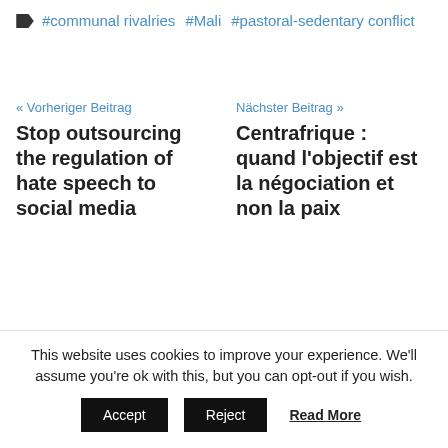#communal rivalries  #Mali  #pastoral-sedentary conflict
« Vorheriger Beitrag
Stop outsourcing the regulation of hate speech to social media
Nächster Beitrag »
Centrafrique : quand l'objectif est la négociation et non la paix
Suchen ...
This website uses cookies to improve your experience. We'll assume you're ok with this, but you can opt-out if you wish.
Accept   Reject   Read More